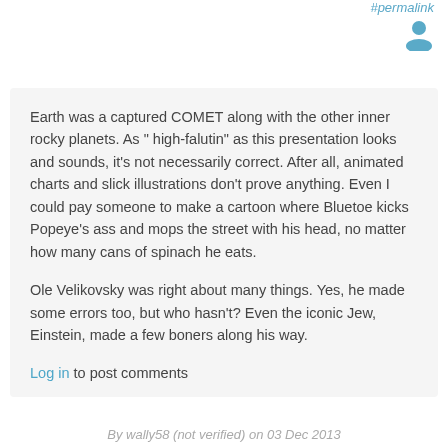#permalink
Earth was a captured COMET along with the other inner rocky planets. As " high-falutin" as this presentation looks and sounds, it's not necessarily correct. After all, animated charts and slick illustrations don't prove anything. Even I could pay someone to make a cartoon where Bluetoe kicks Popeye's ass and mops the street with his head, no matter how many cans of spinach he eats.

Ole Velikovsky was right about many things. Yes, he made some errors too, but who hasn't? Even the iconic Jew, Einstein, made a few boners along his way.
Log in to post comments
By wally58 (not verified) on 03 Dec 2013